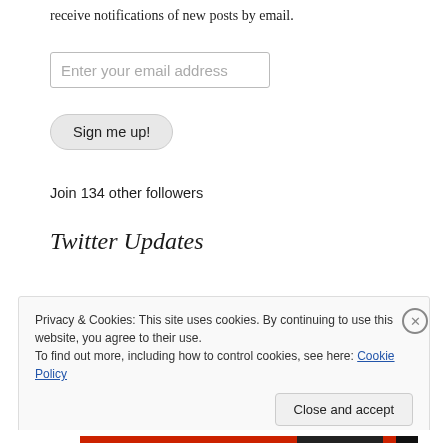receive notifications of new posts by email.
Enter your email address
Sign me up!
Join 134 other followers
Twitter Updates
Privacy & Cookies: This site uses cookies. By continuing to use this website, you agree to their use.
To find out more, including how to control cookies, see here: Cookie Policy
Close and accept